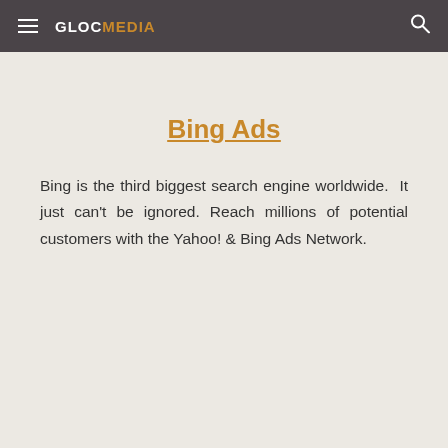GLOCMEDIA
Bing Ads
Bing is the third biggest search engine worldwide. It just can't be ignored. Reach millions of potential customers with the Yahoo! & Bing Ads Network.